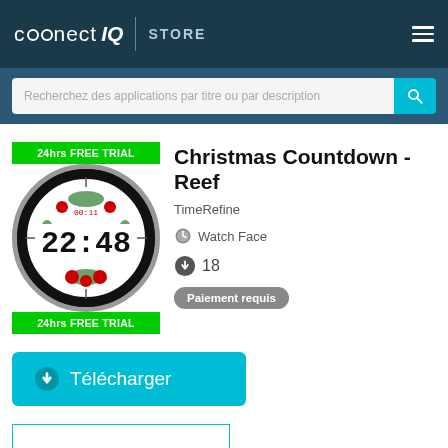connect IQ STORE
Recherchez des applications par titre ou par description
[Figure (illustration): Christmas Countdown watch face with red flowers/reef decoration and green '24hrs FREE TRIAL' banners top and bottom, showing digital time 22:48]
Christmas Countdown - Reef
TimeRefine
Watch Face
18
Paiement requis
Télécharger